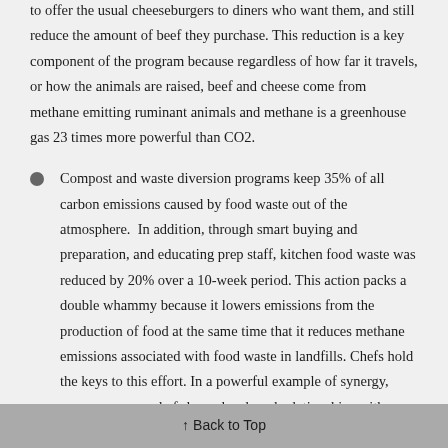to offer the usual cheeseburgers to diners who want them, and still reduce the amount of beef they purchase. This reduction is a key component of the program because regardless of how far it travels, or how the animals are raised, beef and cheese come from methane emitting ruminant animals and methane is a greenhouse gas 23 times more powerful than CO2.
Compost and waste diversion programs keep 35% of all carbon emissions caused by food waste out of the atmosphere. In addition, through smart buying and preparation, and educating prep staff, kitchen food waste was reduced by 20% over a 10-week period. This action packs a double whammy because it lowers emissions from the production of food at the same time that it reduces methane emissions associated with food waste in landfills. Chefs hold the keys to this effort. In a powerful example of synergy, many company chefs have developed relationships with vendor farmers to take the kitchen scraps and use them to build healthy soil that gives back in the form of
↑ Back to Top